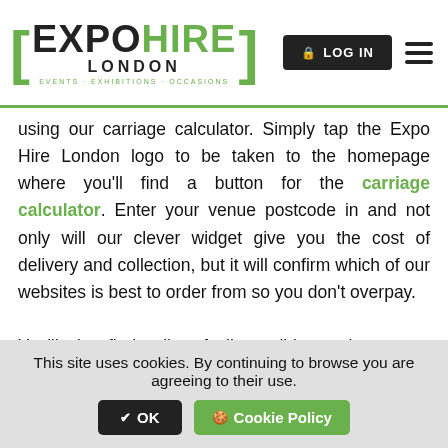EXPO HIRE LONDON — EVENTS · EXHIBITIONS · OCCASIONS | LOG IN | Menu
using our carriage calculator. Simply tap the Expo Hire London logo to be taken to the homepage where you'll find a button for the carriage calculator. Enter your venue postcode in and not only will our clever widget give you the cost of delivery and collection, but it will confirm which of our websites is best to order from so you don't overpay.

You'll also find a list of all possible surcharges on that page. If any of these are applicable, they are confirmed in the checkout once you have reconfirmed your delivery address and dates and
This site uses cookies. By continuing to browse you are agreeing to their use. OK | Cookie Policy